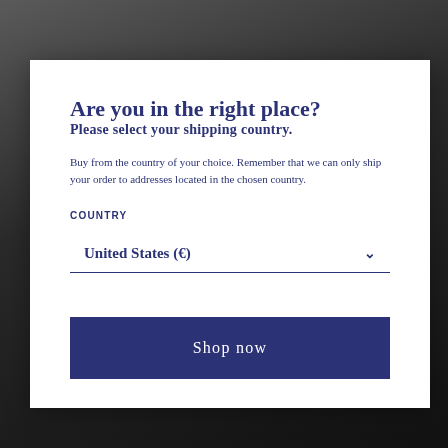Are you in the right place?
Please select your shipping country.
Buy from the country of your choice. Remember that we can only ship your order to addresses located in the chosen country.
COUNTRY
United States (€)
Shop now